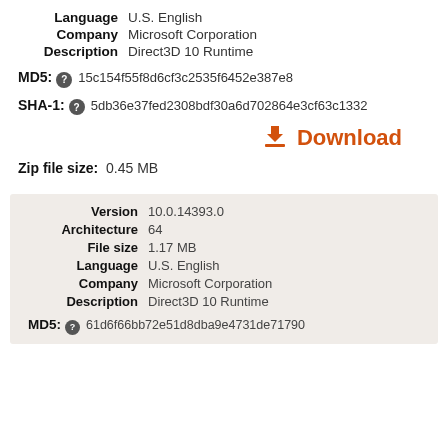Language: U.S. English
Company: Microsoft Corporation
Description: Direct3D 10 Runtime
MD5: 15c154f55f8d6cf3c2535f6452e387e8
SHA-1: 5db36e37fed2308bdf30a6d702864e3cf63c1332
Download
Zip file size: 0.45 MB
Version: 10.0.14393.0
Architecture: 64
File size: 1.17 MB
Language: U.S. English
Company: Microsoft Corporation
Description: Direct3D 10 Runtime
MD5: 61d6f66bb72e51d8dba9e4731de71790